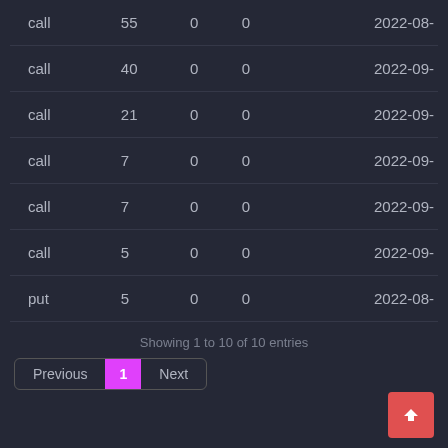| type | quantity | col3 | col4 | date |
| --- | --- | --- | --- | --- |
| call | 55 | 0 | 0 | 2022-08- |
| call | 40 | 0 | 0 | 2022-09- |
| call | 21 | 0 | 0 | 2022-09- |
| call | 7 | 0 | 0 | 2022-09- |
| call | 7 | 0 | 0 | 2022-09- |
| call | 5 | 0 | 0 | 2022-09- |
| put | 5 | 0 | 0 | 2022-08- |
Showing 1 to 10 of 10 entries
Previous 1 Next